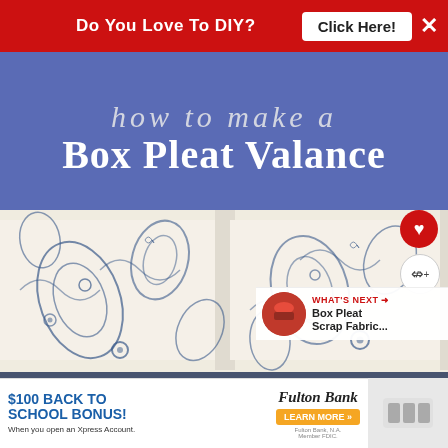[Figure (screenshot): Red DIY advertisement banner at top with 'Do You Love To DIY?' text, a 'Click Here!' button, and a close X button]
how to make a Box Pleat Valance
[Figure (photo): Photo of a blue and white paisley box pleat valance/curtain with decorative fringe trim at the bottom, mounted on a wall]
[Figure (screenshot): WHAT'S NEXT arrow label with thumbnail and text 'Box Pleat Scrap Fabric...']
[Figure (screenshot): Fulton Bank advertisement banner: '$100 BACK TO SCHOOL BONUS! When you open an Xpress Account.' with Learn More button and Fulton Bank logo]